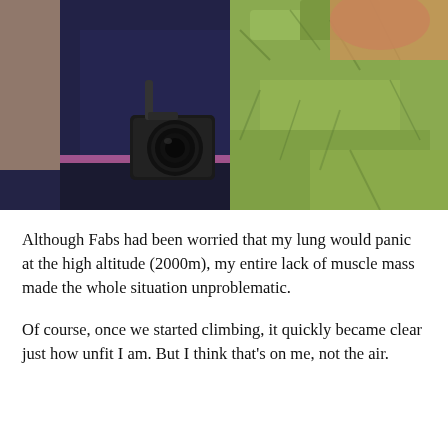[Figure (photo): Person wearing a dark navy blue shirt and dark trousers with a DSLR camera hanging at their hip, standing on a grassy hillside slope. Green grass fills most of the background. The photo is taken from a low/close angle showing mostly the torso and camera.]
Although Fabs had been worried that my lung would panic at the high altitude (2000m), my entire lack of muscle mass made the whole situation unproblematic.
Of course, once we started climbing, it quickly became clear just how unfit I am. But I think that's on me, not the air.